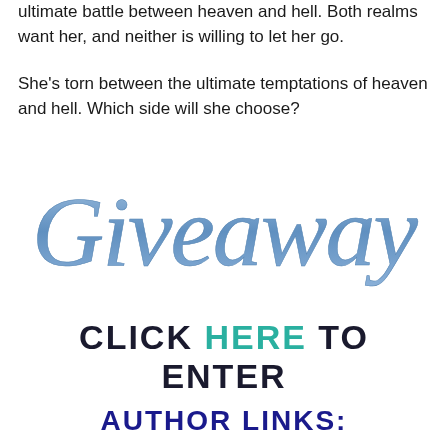ultimate battle between heaven and hell. Both realms want her, and neither is willing to let her go.
She’s torn between the ultimate temptations of heaven and hell. Which side will she choose?
[Figure (illustration): Decorative cursive script reading 'Giveaway' in a blue-gray calligraphic style]
CLICK HERE TO ENTER
AUTHOR LINKS: